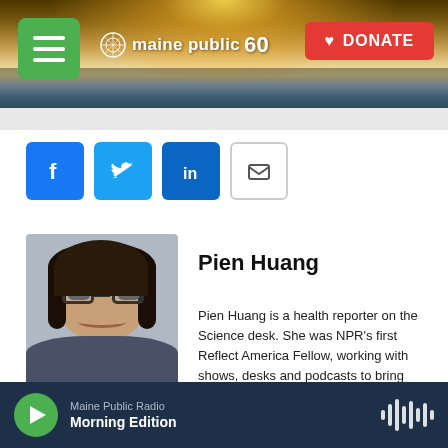[Figure (photo): Maine Public 60 website header with navigation menu button, Maine Public 60 logo, and red DONATE button over a scenic landscape photo]
[Figure (infographic): Social media sharing buttons: Facebook, Twitter, LinkedIn, and Email]
[Figure (photo): Profile photo of Pien Huang]
Pien Huang
Pien Huang is a health reporter on the Science desk. She was NPR's first Reflect America Fellow, working with shows, desks and podcasts to bring more diverse voices to air and online.
See stories by Pien Huang
Maine Public Radio
Morning Edition